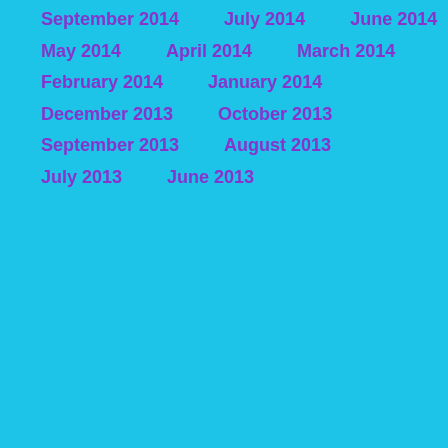September 2014
July 2014
June 2014
May 2014
April 2014
March 2014
February 2014
January 2014
December 2013
October 2013
September 2013
August 2013
July 2013
June 2013